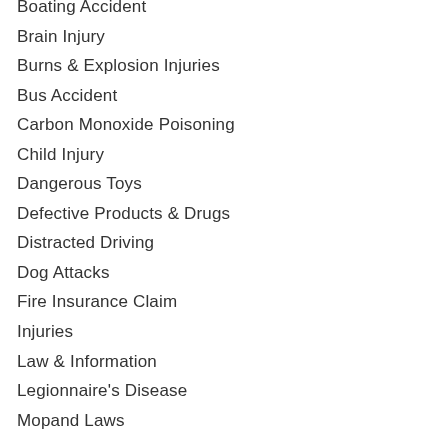Boating Accident
Brain Injury
Burns & Explosion Injuries
Bus Accident
Carbon Monoxide Poisoning
Child Injury
Dangerous Toys
Defective Products & Drugs
Distracted Driving
Dog Attacks
Fire Insurance Claim
Injuries
Law & Information
Legionnaire's Disease
Mopand Laws